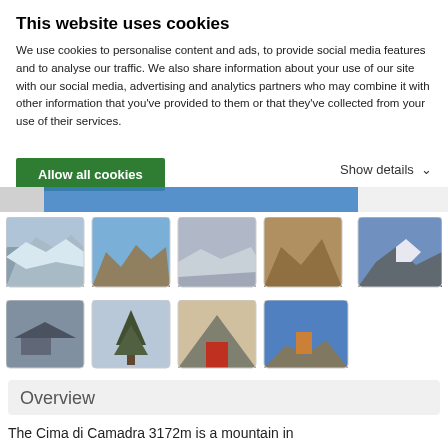This website uses cookies
We use cookies to personalise content and ads, to provide social media features and to analyse our traffic. We also share information about your use of our site with our social media, advertising and analytics partners who may combine it with other information that you've provided to them or that they've collected from your use of their services.
Allow all cookies
Show details
[Figure (photo): Row of mountain landscape thumbnail photos - 5 images showing rocky mountain peaks, snowy ridges, and aerial views]
[Figure (photo): Row of mountain landscape thumbnail photos - 4 images showing a mountain hut, lone tree, triangular hut with red door, and climbers on a rocky summit]
Overview
The Cima di Camadra 3172m is a mountain in